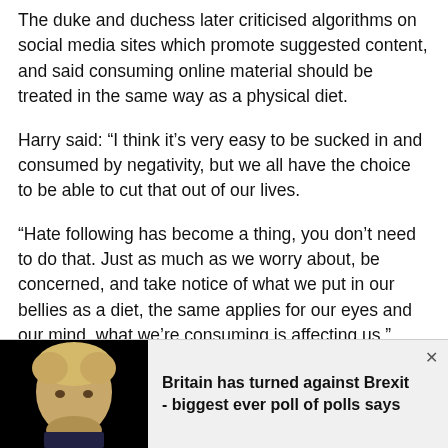The duke and duchess later criticised algorithms on social media sites which promote suggested content, and said consuming online material should be treated in the same way as a physical diet.
Harry said: “I think it’s very easy to be sucked in and consumed by negativity, but we all have the choice to be able to cut that out of our lives.
“Hate following has become a thing, you don’t need to do that. Just as much as we worry about, be concerned, and take notice of what we put in our bellies as a diet, the same applies for our eyes and our mind, what we’re consuming is affecting us.”
[Figure (photo): Photo of a blonde man (Boris Johnson) against black background, cropped to head and shoulders in bottom-left corner of page]
Britain has turned against Brexit - biggest ever poll of polls says